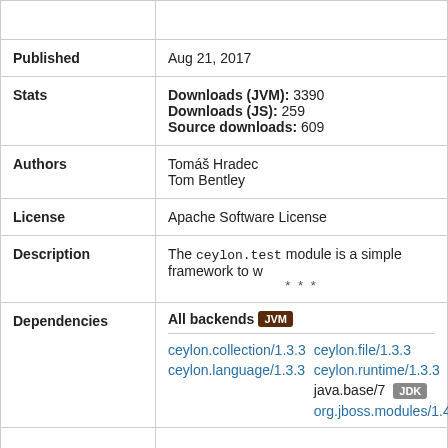| Field | Value |
| --- | --- |
| Published | Aug 21, 2017 |
| Stats | Downloads (JVM): 3390
Downloads (JS): 259
Source downloads: 609 |
| Authors | Tomáš Hradec
Tom Bentley |
| License | Apache Software License |
| Description | The ceylon.test module is a simple framework to w
* * * |
| Dependencies | All backends [JVM]
ceylon.collection/1.3.3  ceylon.file/1.3.3
ceylon.language/1.3.3   ceylon.runtime/1.3.3
java.base/7 [JDK]
org.jboss.modules/1.4.4.Fina... |